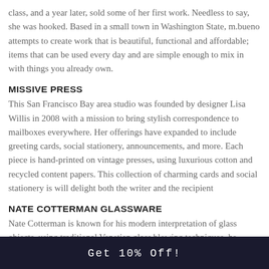class, and a year later, sold some of her first work. Needless to say, she was hooked. Based in a small town in Washington State, m.bueno attempts to create work that is beautiful, functional and affordable; items that can be used every day and are simple enough to mix in with things you already own.
MISSIVE PRESS
This San Francisco Bay area studio was founded by designer Lisa Willis in 2008 with a mission to bring stylish correspondence to mailboxes everywhere. Her offerings have expanded to include greeting cards, social stationery, announcements, and more. Each piece is hand-printed on vintage presses, using luxurious cotton and recycled content papers. This collection of charming cards and social stationery is will delight both the writer and the recipient
NATE COTTERMAN GLASSWARE
Nate Cotterman is known for his modern interpretation of glass objects, using traditional Venetian glass blowing techniques, he challenges low-end production with innovative design and handmade quality. He has created a line of ... s si...
Get 10% Off!